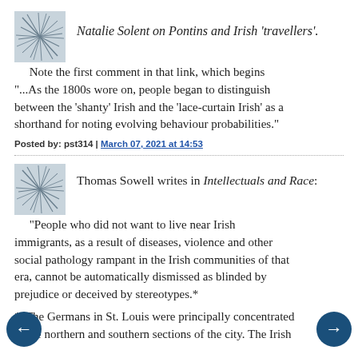Natalie Solent on Pontins and Irish 'travellers'.
Note the first comment in that link, which begins "...As the 1800s wore on, people began to distinguish between the 'shanty' Irish and the 'lace-curtain Irish' as a shorthand for noting evolving behaviour probabilities."
Posted by: pst314 | March 07, 2021 at 14:53
Thomas Sowell writes in Intellectuals and Race:
"People who did not want to live near Irish immigrants, as a result of diseases, violence and other social pathology rampant in the Irish communities of that era, cannot be automatically dismissed as blinded by prejudice or deceived by stereotypes.*
* 'The Germans in St. Louis were principally concentrated in the northern and southern sections of the city. The Irish